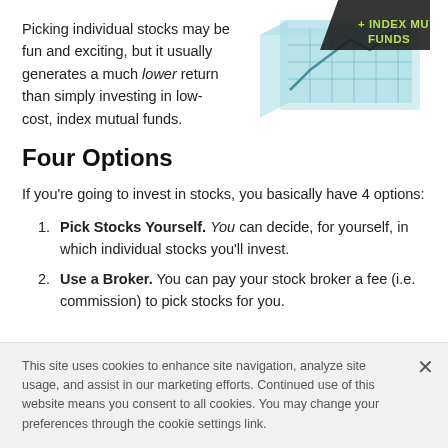Picking individual stocks may be fun and exciting, but it usually generates a much lower return than simply investing in low-cost, index mutual funds.
[Figure (illustration): Decorative banner/ribbon graphic with text '+ INDEX MUTUAL FUNDS' over a geometric building/chart illustration in teal and grey tones.]
Four Options
If you're going to invest in stocks, you basically have 4 options:
Pick Stocks Yourself. You can decide, for yourself, in which individual stocks you'll invest.
Use a Broker. You can pay your stock broker a fee (i.e. commission) to pick stocks for you.
This site uses cookies to enhance site navigation, analyze site usage, and assist in our marketing efforts. Continued use of this website means you consent to all cookies. You may change your preferences through the cookie settings link.